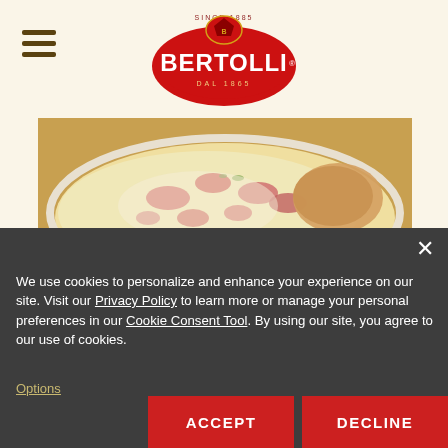Bertolli — navigation header with hamburger menu and Bertolli logo
[Figure (photo): Close-up food photo of Chicken Alfredo with Plum Tomatoes in a white bowl — creamy white sauce with pink/red tomato pieces]
CHICKEN ALFREDO WITH PLUM
| Servings | Prep Time | Cook Time |
| --- | --- | --- |
| 6 |  |  |
[Figure (other): Cookie consent overlay panel with dark grey background]
We use cookies to personalize and enhance your experience on our site. Visit our Privacy Policy to learn more or manage your personal preferences in our Cookie Consent Tool. By using our site, you agree to our use of cookies.
Options
ACCEPT
DECLINE
Plump tomatoes meet creamy Alfredo sauce in this easy Chicken Alfredo recipe. Serve this dish with your favorite steaming hot pasta or